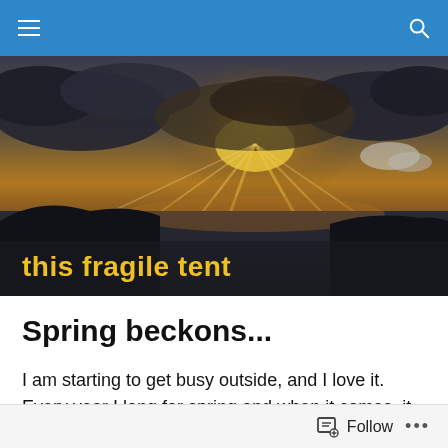Navigation bar with hamburger menu and search icon
[Figure (photo): Sunset or dramatic sky scene over water with golden light rays breaking through dark clouds, silhouetted hills in the background. Blog header image for 'this fragile tent'.]
this fragile tent
Spring beckons...
I am starting to get busy outside, and I love it. Every year I long for spring and when it comes, it never disappoints. The smell of the earth. The feeling of energy returning to the whole world around me, from the birds to the flush of
Follow ...